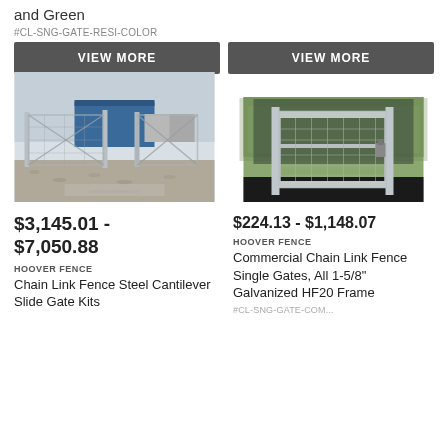and Green
#CL-SNG-GATE-RESI-COLOR
VIEW MORE
VIEW MORE
[Figure (photo): Chain link fence cantilever slide gate installed outdoors, metallic/galvanized finish, gravel driveway, blue building in background]
$3,145.01 - $7,050.88
HOOVER FENCE
Chain Link Fence Steel Cantilever Slide Gate Kits
[Figure (photo): Commercial chain link fence single gate, galvanized, standing upright against fence background]
$224.13 - $1,148.07
HOOVER FENCE
Commercial Chain Link Fence Single Gates, All 1-5/8" Galvanized HF20 Frame
#CL-SNG-GATE-COM...